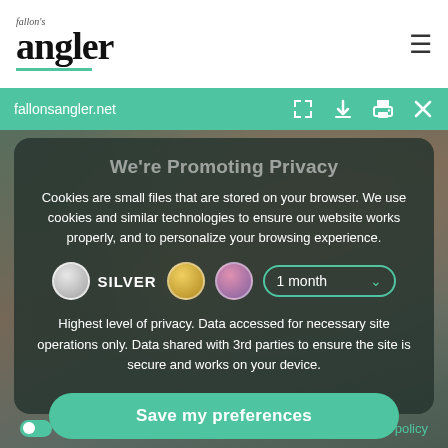fallon's angler
fallonsangler.net
We're Promoting Privacy
Cookies are small files that are stored on your browser. We use cookies and similar technologies to ensure our website works properly, and to personalize your browsing experience.
SILVER  1 month
Highest level of privacy. Data accessed for necessary site operations only. Data shared with 3rd parties to ensure the site is secure and works on your device.
Save my preferences
Preferences
Privacy policy